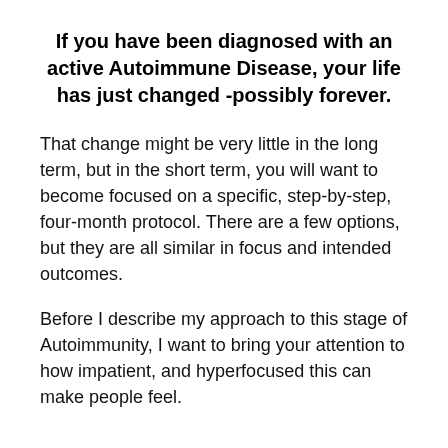If you have been diagnosed with an active Autoimmune Disease, your life has just changed -possibly forever.
That change might be very little in the long term, but in the short term, you will want to become focused on a specific, step-by-step, four-month protocol. There are a few options, but they are all similar in focus and intended outcomes.
Before I describe my approach to this stage of Autoimmunity, I want to bring your attention to how impatient, and hyperfocused this can make people feel.